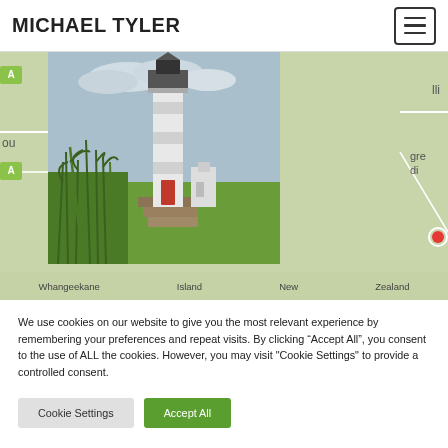MICHAEL TYLER
[Figure (photo): Lighthouse photo overlaid on a map background. A white lighthouse with a red door surrounded by green grass and reeds. The background shows a green road map with partial text labels including 'ou', 'lli', 'gre di'. Bottom caption strip partially reads: Whangeekane Island New Zealand]
We use cookies on our website to give you the most relevant experience by remembering your preferences and repeat visits. By clicking “Accept All”, you consent to the use of ALL the cookies. However, you may visit "Cookie Settings" to provide a controlled consent.
Cookie Settings    Accept All